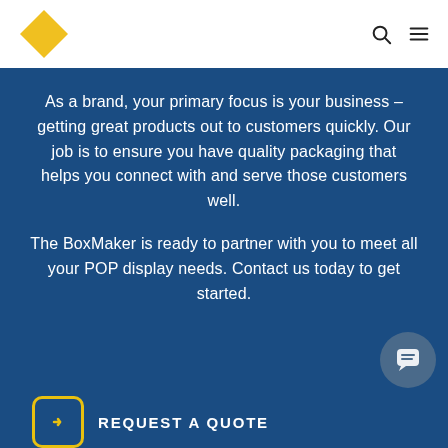[Figure (logo): Yellow diamond-shaped logo (The BoxMaker)]
Navigation header with logo, search icon, and menu icon
As a brand, your primary focus is your business – getting great products out to customers quickly. Our job is to ensure you have quality packaging that helps you connect with and serve those customers well.
The BoxMaker is ready to partner with you to meet all your POP display needs. Contact us today to get started.
REQUEST A QUOTE